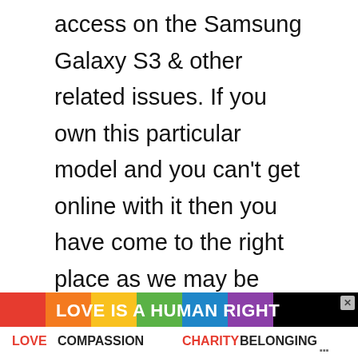access on the Samsung Galaxy S3 & other related issues. If you own this particular model and you can't get online with it then you have come to the right place as we may be able to help you with your problem. We have selected four connectivity related issues which we will tackle. These issues have been recently sent to us by our readers seeking assistance. We will provide the necessary troubleshooting steps needed
[Figure (infographic): Advertisement banner: 'LOVE IS A HUMAN RIGHT' with rainbow background, and 'LOVECOMPASSIONCHARITYBELONGING' text on white background below.]